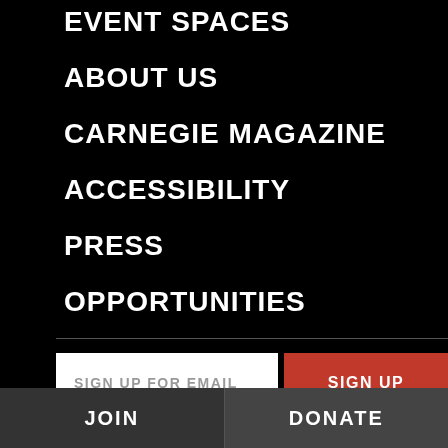EVENT SPACES
ABOUT US
CARNEGIE MAGAZINE
ACCESSIBILITY
PRESS
OPPORTUNITIES
SIGN UP FOR EMAIL
SIGN UP
CONNECT WITH OUR MUSEUMS
Social Media, Blogs, Apps & More »
JOIN
DONATE